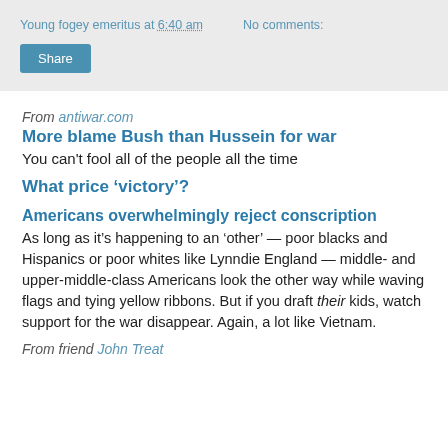Young fogey emeritus at 6:40 am   No comments:
Share
From antiwar.com
More blame Bush than Hussein for war
You can't fool all of the people all the time
What price ‘victory’?
Americans overwhelmingly reject conscription
As long as it’s happening to an ‘other’ — poor blacks and Hispanics or poor whites like Lynndie England — middle- and upper-middle-class Americans look the other way while waving flags and tying yellow ribbons. But if you draft their kids, watch support for the war disappear. Again, a lot like Vietnam.
From friend John Treat